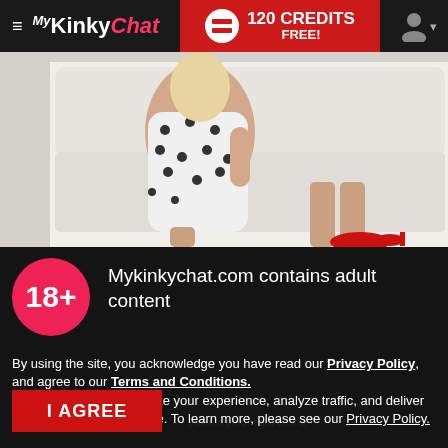MyKinkyChat — 120 CREDITS FREE!
[Figure (photo): Woman in polka-dot dress seated on white sofa, wearing red high heels]
Mykinkychat.com contains adult content
By using the site, you acknowledge you have read our Privacy Policy, and agree to our Terms and Conditions.
We use cookies to optimize your experience, analyze traffic, and deliver more personalized service. To learn more, please see our Privacy Policy.
I AGREE